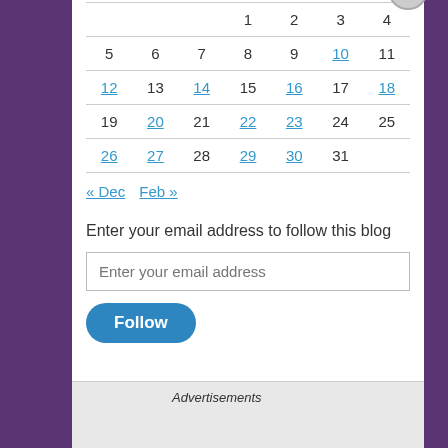| Sun | Mon | Tue | Wed | Thu | Fri | Sat |
| --- | --- | --- | --- | --- | --- | --- |
|  |  |  | 1 | 2 | 3 | 4 |
| 5 | 6 | 7 | 8 | 9 | 10 | 11 |
| 12 | 13 | 14 | 15 | 16 | 17 | 18 |
| 19 | 20 | 21 | 22 | 23 | 24 | 25 |
| 26 | 27 | 28 | 29 | 30 | 31 |  |
« Dec  Feb »
Enter your email address to follow this blog
Enter your email address
Follow
Advertisements